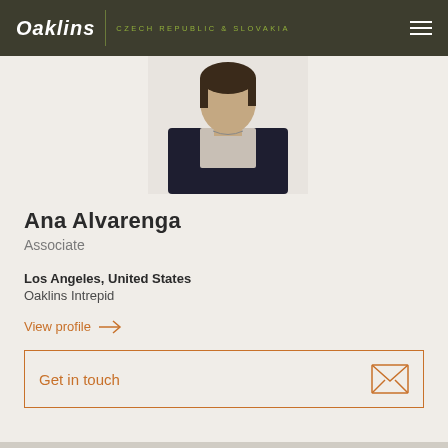Oaklins | CZECH REPUBLIC & SLOVAKIA
[Figure (photo): Professional headshot of Ana Alvarenga, a woman in a dark blazer with a light blouse, photographed against a neutral background]
Ana Alvarenga
Associate
Los Angeles, United States
Oaklins Intrepid
View profile →
Get in touch